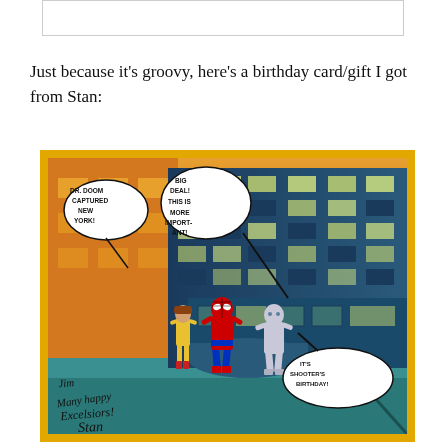Just because it's groovy, here's a birthday card/gift I got from Stan:
[Figure (illustration): A comic book style animation cel showing Spider-Man, a female hero in yellow, and Silver Surfer running in front of a city building. Speech bubbles read 'DR. DOOM CAPTURED NEW YORK!' and 'BIG DEAL! THIS IS MORE IMPORTANT!' with an arrow and 'IT'S SHOOTER'S BIRTHDAY!' The image is signed: 'Jim Many happy Excelsiors! Stan '84']